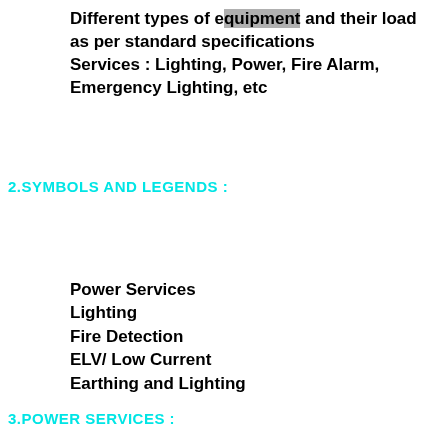Different types of equipment and their load as per standard specifications
Services : Lighting, Power, Fire Alarm, Emergency Lighting, etc
2.SYMBOLS AND LEGENDS :
Power Services
Lighting
Fire Detection
ELV/ Low Current
Earthing and Lighting
3.POWER SERVICES :